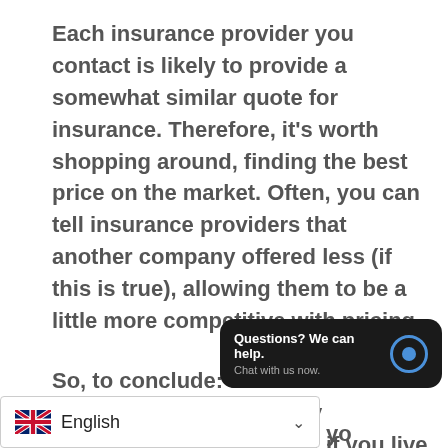Each insurance provider you contact is likely to provide a somewhat similar quote for insurance. Therefore, it's worth shopping around, finding the best price on the market. Often, you can tell insurance providers that another company offered less (if this is true), allowing them to be a little more competitive with pricing.
So, to conclude: flood insurance is not required, but is highly recommended, especially if you live in a...